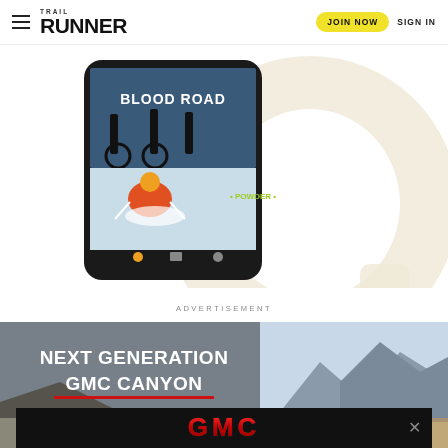Trail Runner | JOIN NOW | SIGN IN
[Figure (screenshot): Trail Runner app screenshot showing Blood Road movie and skiing action content on mobile phone, with decorative large circular letter Q shape in cream/beige on right side]
ADVERTISEMENT
[Figure (photo): GMC Canyon advertisement with text NEXT GENERATION GMC CANYON and mountain landscape background]
[Figure (logo): GMC logo in red metallic letters on dark background, overlay ad banner with close X button]